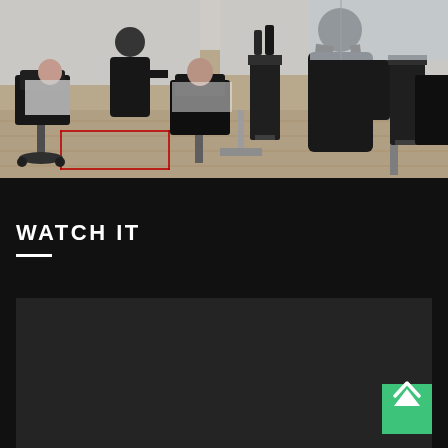[Figure (photo): Interior of a hair salon with stylists working on clients. Multiple salon chairs visible, stylists wearing dark aprons, mirrors on walls, wood floor with red tape markings, styling carts with products.]
WATCH IT
[Figure (other): Dark video player placeholder area with a green scroll-to-top button (upward chevron arrow) in the bottom right corner.]